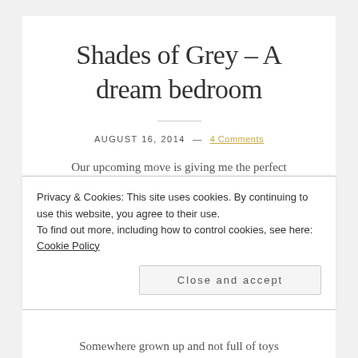Shades of Grey – A dream bedroom
AUGUST 16, 2014 — 4 Comments
Our upcoming move is giving me the perfect
Privacy & Cookies: This site uses cookies. By continuing to use this website, you agree to their use.
To find out more, including how to control cookies, see here: Cookie Policy
Close and accept
Somewhere grown up and not full of toys